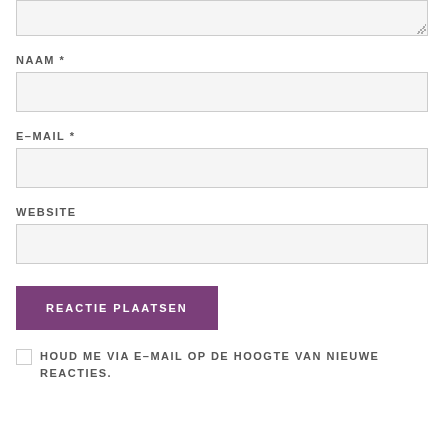NAAM *
E–MAIL *
WEBSITE
REACTIE PLAATSEN
HOUD ME VIA E–MAIL OP DE HOOGTE VAN NIEUWE REACTIES.